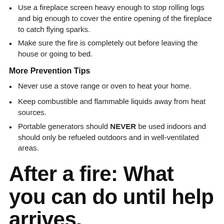Use a fireplace screen heavy enough to stop rolling logs and big enough to cover the entire opening of the fireplace to catch flying sparks.
Make sure the fire is completely out before leaving the house or going to bed.
More Prevention Tips
Never use a stove range or oven to heat your home.
Keep combustible and flammable liquids away from heat sources.
Portable generators should NEVER be used indoors and should only be refueled outdoors and in well-ventilated areas.
After a fire: What you can do until help arrives.
2/17/2021 (Permalink)
After
[Figure (photo): Black and white photo of a fire scene with people]